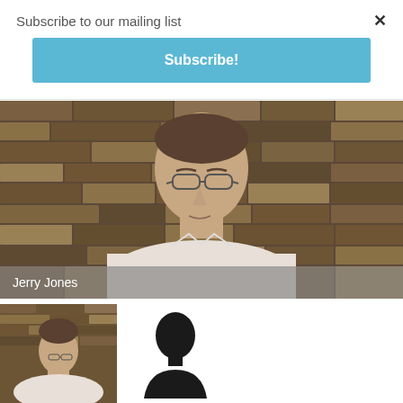Subscribe to our mailing list
×
Subscribe!
[Figure (photo): Portrait photo of a middle-aged man with glasses wearing a white shirt, seated in front of a stone/brick wall background. Name label 'Jerry Jones' appears at bottom left of the photo.]
Jerry Jones
[Figure (photo): Small thumbnail of same man (Jerry Jones) in front of stone wall background.]
[Figure (illustration): Black silhouette icon of a person's head and shoulders on white background.]